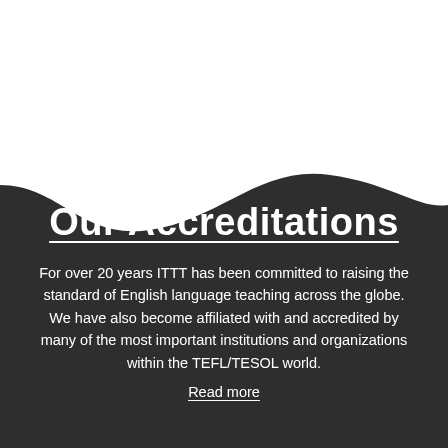[Figure (illustration): Dark charcoal/near-black wave shape filling the bottom portion of the page. The wave curves up from the left and right edges, with a concave dip in the upper-middle, creating a smooth swooping dark background section against a white top area.]
Our Accreditations
For over 20 years ITTT has been committed to raising the standard of English language teaching across the globe. We have also become affiliated with and accredited by many of the most important institutions and organizations within the TEFL/TESOL world.
Read more